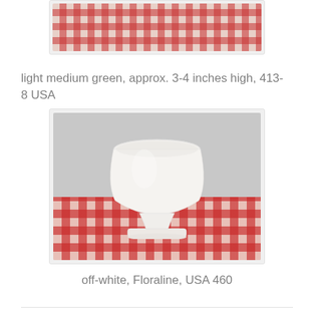[Figure (photo): Partial view of a ceramic planter on a red and white gingham/checkered tablecloth, top portion cropped]
light medium green, approx. 3-4 inches high, 413- 8 USA
[Figure (photo): White ceramic footed bowl/planter (Floraline) on a red and white gingham tablecloth, gray background]
off-white, Floraline, USA 460